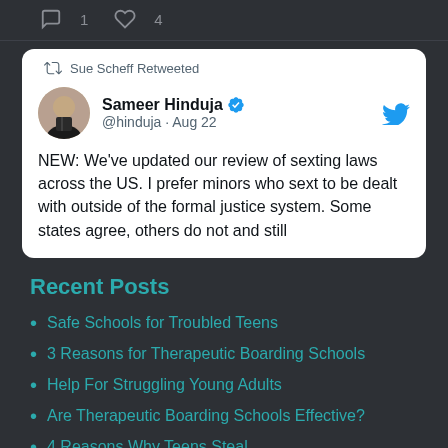[Figure (screenshot): Twitter engagement icons: comment bubble with count 1, heart with count 4]
[Figure (screenshot): Tweet card: Sue Scheff Retweeted. Sameer Hinduja @hinduja · Aug 22. Profile photo of man in suit. Verified badge. Text: NEW: We've updated our review of sexting laws across the US. I prefer minors who sext to be dealt with outside of the formal justice system. Some states agree, others do not and still]
Recent Posts
Safe Schools for Troubled Teens
3 Reasons for Therapeutic Boarding Schools
Help For Struggling Young Adults
Are Therapeutic Boarding Schools Effective?
4 Reasons Why Teens Steal